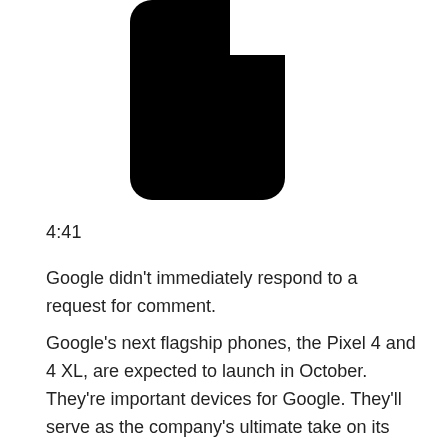[Figure (logo): Black logo mark resembling a stylized letter N or notification icon with rounded corners, on white background]
4:41
Google didn’t immediately respond to a request for comment.
Google’s next flagship phones, the Pixel 4 and 4 XL, are expected to launch in October. They’re important devices for Google. They’ll serve as the company’s ultimate take on its mobile OS — the most popular OS in the world — and the phones must stand out, not only from Apple’s iPhone but also from other Android rivals, like Samsung’s